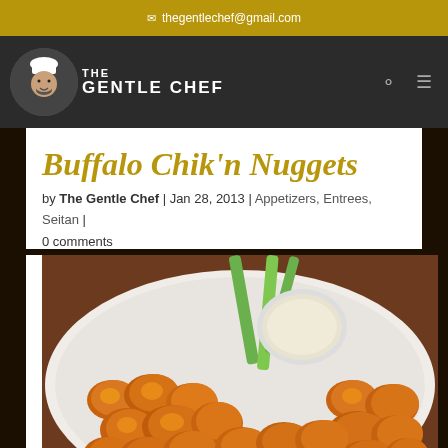✉ thegentlechef@gmail.com
[Figure (logo): The Gentle Chef logo with chef face in circle and bold text]
Buffalo Chik'n Nuggets
by The Gentle Chef | Jan 28, 2013 | Appetizers, Entrees, Seitan | 0 comments
[Figure (photo): Plate of golden fried buffalo chicken nuggets with dipping sauce and celery sticks]